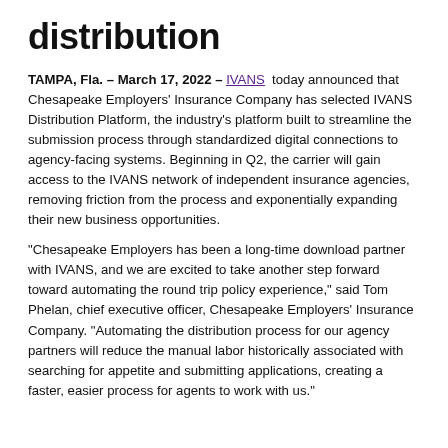distribution
TAMPA, Fla. – March 17, 2022 – IVANS today announced that Chesapeake Employers' Insurance Company has selected IVANS Distribution Platform, the industry's platform built to streamline the submission process through standardized digital connections to agency-facing systems. Beginning in Q2, the carrier will gain access to the IVANS network of independent insurance agencies, removing friction from the process and exponentially expanding their new business opportunities.
“Chesapeake Employers has been a long-time download partner with IVANS, and we are excited to take another step forward toward automating the round trip policy experience,” said Tom Phelan, chief executive officer, Chesapeake Employers’ Insurance Company. “Automating the distribution process for our agency partners will reduce the manual labor historically associated with searching for appetite and submitting applications, creating a faster, easier process for agents to work with us.”